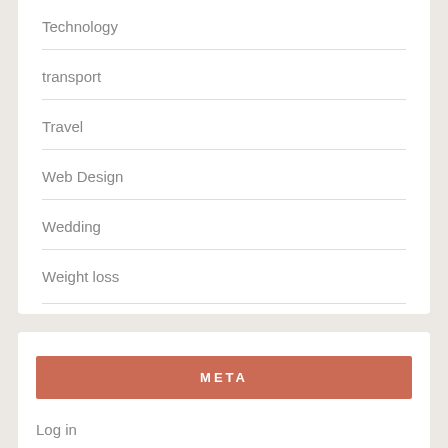Technology
transport
Travel
Web Design
Wedding
Weight loss
META
Log in